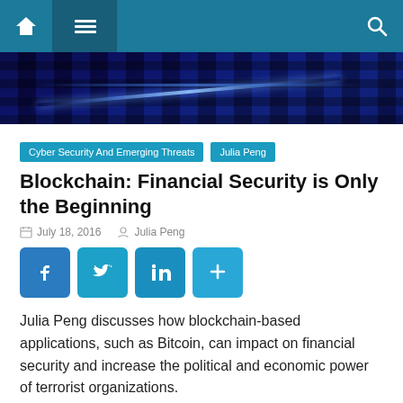Navigation bar with home, menu, and search icons
[Figure (photo): Dark blue server room with glowing blue LED lights on server racks]
Cyber Security And Emerging Threats   Julia Peng
Blockchain: Financial Security is Only the Beginning
July 18, 2016   Julia Peng
[Figure (infographic): Social sharing buttons: Facebook, Twitter, LinkedIn, Share]
Julia Peng discusses how blockchain-based applications, such as Bitcoin, can impact on financial security and increase the political and economic power of terrorist organizations.
[Figure (photo): Green banner image with decorative pattern at the bottom]